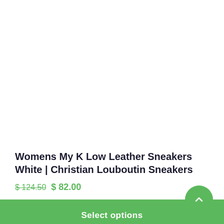[Figure (photo): White area representing product image space (product photo not visible)]
Womens My K Low Leather Sneakers White | Christian Louboutin Sneakers
$ 124.50  $ 82.00
Select options